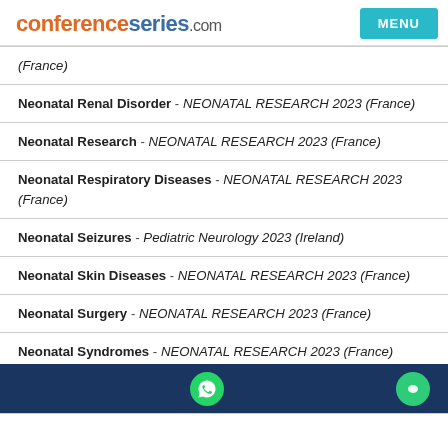conferenceseries.com MENU
(France)
Neonatal Renal Disorder - NEONATAL RESEARCH 2023 (France)
Neonatal Research - NEONATAL RESEARCH 2023 (France)
Neonatal Respiratory Diseases - NEONATAL RESEARCH 2023 (France)
Neonatal Seizures - Pediatric Neurology 2023 (Ireland)
Neonatal Skin Diseases - NEONATAL RESEARCH 2023 (France)
Neonatal Surgery - NEONATAL RESEARCH 2023 (France)
Neonatal Syndromes - NEONATAL RESEARCH 2023 (France)
WhatsApp and chat icons on dark blue bar